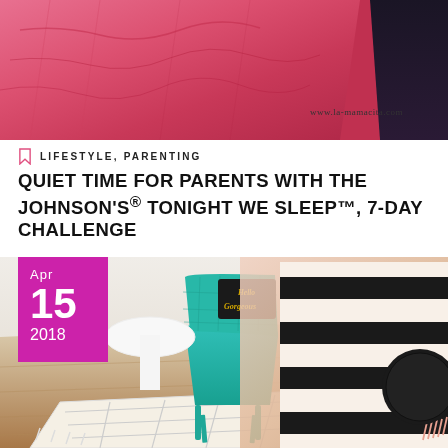[Figure (photo): Close-up photo of a person lying down with a pink/rose colored blanket or jacket, partial view of hair on the right side. Watermark text 'www.la-mamacita.com' visible in the lower right area of the image.]
LIFESTYLE, PARENTING
QUIET TIME FOR PARENTS WITH THE JOHNSON'S® TONIGHT WE SLEEP™, 7-DAY CHALLENGE
[Figure (photo): Interior room scene showing teal/turquoise quilted chairs, a white geometric patterned rug on wood flooring, a black decorative pillow that says 'Hello Gorgeous' in gold script, and black and white striped throw with pink fringe on the right side. A white round side table is partially visible. Date badge overlay shows Apr 15, 2018 in magenta/pink.]
Apr 15 2018